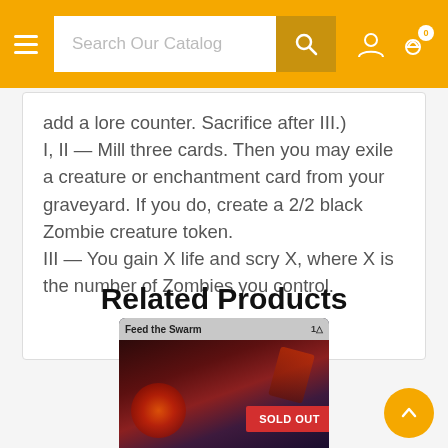Search Our Catalog
add a lore counter. Sacrifice after III.)
I, II — Mill three cards. Then you may exile a creature or enchantment card from your graveyard. If you do, create a 2/2 black Zombie creature token.
III — You gain X life and scry X, where X is the number of Zombies you control.
Related Products
[Figure (photo): Feed the Swarm trading card with SOLD OUT badge overlay]